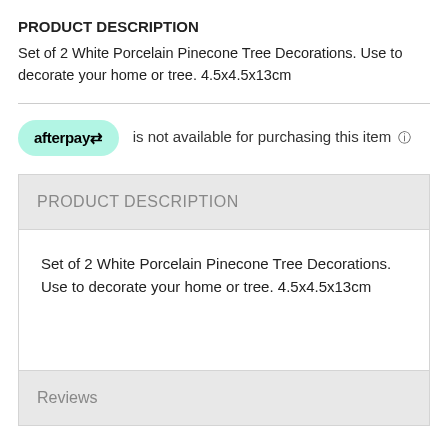PRODUCT DESCRIPTION
Set of 2 White Porcelain Pinecone Tree Decorations. Use to decorate your home or tree. 4.5x4.5x13cm
afterpay is not available for purchasing this item ℹ
PRODUCT DESCRIPTION
Set of 2 White Porcelain Pinecone Tree Decorations. Use to decorate your home or tree. 4.5x4.5x13cm
Reviews